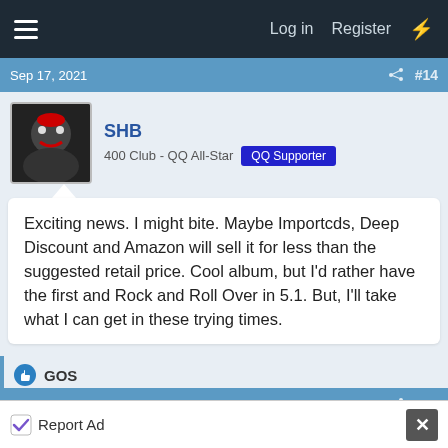Log in  Register
Sep 17, 2021  #14
SHB
400 Club - QQ All-Star  QQ Supporter
Exciting news. I might bite. Maybe Importcds, Deep Discount and Amazon will sell it for less than the suggested retail price. Cool album, but I'd rather have the first and Rock and Roll Over in 5.1. But, I'll take what I can get in these trying times.
GOS
Sep 17, 2021  #15
musicmemorabiliashoppellc
Report Ad